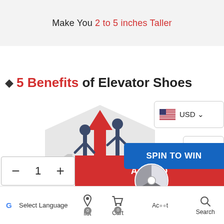Make You 2 to 5 inches Taller
♦ 5 Benefits of Elevator Shoes
[Figure (illustration): Hexagonal illustration showing two figures (shorter and taller) with a large red upward arrow between them, indicating height increase. Number '1' visible in lower left of hexagon.]
USD currency selector with US flag
Scroll up button
Quantity selector: - 1 + | ADD TO CART button
SPIN TO WIN button
Google Select Language | list (0) | Cart (0) | Account | Search